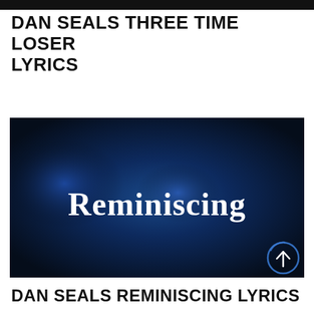DAN SEALS THREE TIME LOSER LYRICS
[Figure (screenshot): Dark blue background thumbnail image with the word 'Reminiscing' in large white serif bold text centered. A small blue circle with an upward arrow appears in the lower right corner.]
DAN SEALS REMINISCING LYRICS